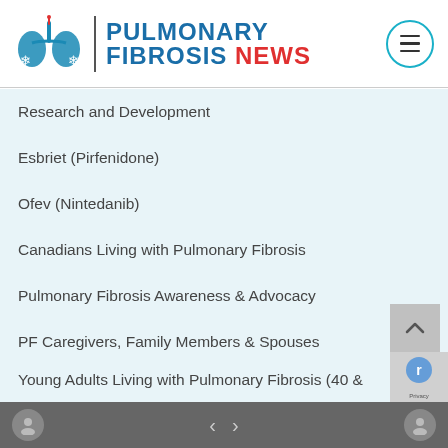[Figure (logo): Pulmonary Fibrosis News logo with lungs icon and site name in blue with NEWS in red]
Research and Development
Esbriet (Pirfenidone)
Ofev (Nintedanib)
Canadians Living with Pulmonary Fibrosis
Pulmonary Fibrosis Awareness & Advocacy
PF Caregivers, Family Members & Spouses
Living with Pulmonary Fibrosis: 50+
Pre/Post Lung Transplant
Young Adults Living with Pulmonary Fibrosis (40 &